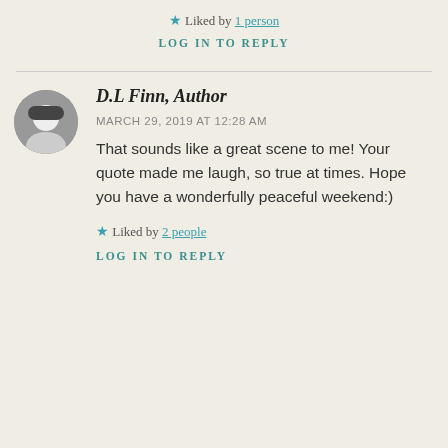★ Liked by 1 person
LOG IN TO REPLY
D.L Finn, Author
MARCH 29, 2019 AT 12:28 AM
That sounds like a great scene to me! Your quote made me laugh, so true at times. Hope you have a wonderfully peaceful weekend:)
★ Liked by 2 people
LOG IN TO REPLY